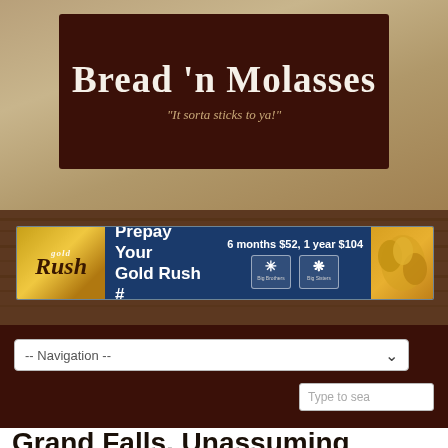Bread 'n Molasses
"It sorta sticks to ya!"
[Figure (infographic): Gold Rush advertisement banner: 'Prepay Your Gold Rush #', 6 months $52, 1 year $104, with Big Brothers Big Sisters logos]
-- Navigation --
Type to sea
Grand Falls, Unassuming Keeping Up Appearances